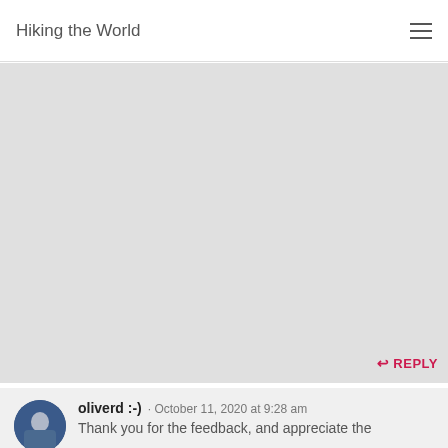Hiking the World
[Figure (other): Large gray placeholder area, likely an image or map region]
REPLY
oliverd :-) · October 11, 2020 at 9:28 am
Thank you for the feedback, and appreciate the